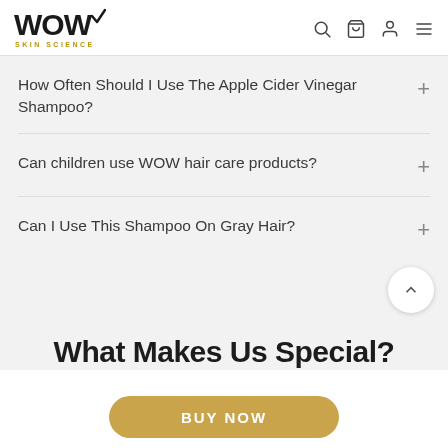WOW SKIN SCIENCE
How Often Should I Use The Apple Cider Vinegar Shampoo?
Can children use WOW hair care products?
Can I Use This Shampoo On Gray Hair?
What Makes Us Special?
BUY NOW